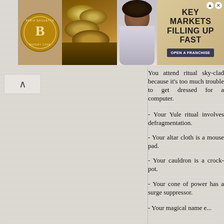[Figure (photo): Advertisement banner for Paris Baguette Bakery & Cafe franchise. Shows logo, bread/pastries, a smiling person, and text 'KEY MARKETS FILLING UP FAST' with 'OPEN A FRANCHISE' button.]
You attend ritual sky-clad because it's too much trouble to get dressed for a computer.
- Your Yule ritual involves defragmentation.
- Your altar cloth is a mouse pad.
- Your cauldron is a crock-pot.
- Your cone of power has a surge suppressor.
- Your magical name e...